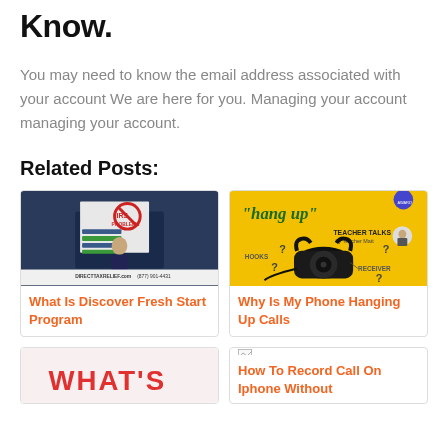Know.
You may need to know the email address associated with your account We are here for you. Managing your account managing your account.
Related Posts:
[Figure (photo): A man in a suit presenting in front of a board with IRS Problems text and a no symbol. Direct Tax Relief advertisement.]
What Is Discover Fresh Start Program
[Figure (photo): Yellow background image showing a vintage telephone with the text hang up, Teacher Talks by Teacher Matt, HOOKS, RECEIVER with question marks.]
Why Is My Phone Hanging Up Calls
[Figure (photo): Partial image showing red text WHAT'S on a light background.]
How To Record Call On Iphone Without